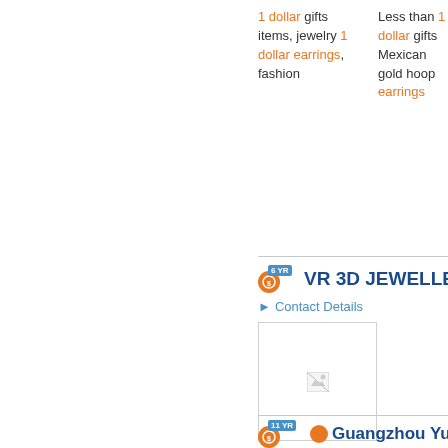1 dollar gifts items, jewelry 1 dollar earrings, fashion
Less than 1 dollar gifts Mexican gold hoop earrings
VR 3D JEWELLERY SO
Contact Details
[Figure (photo): Broken/missing product image placeholder]
CAD design for fashion earring at competitive price
Guangzhou Yulaili